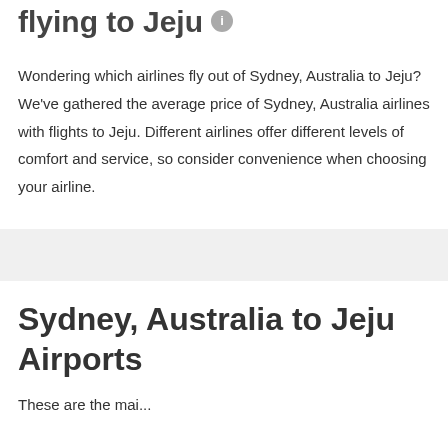flying to Jeju
Wondering which airlines fly out of Sydney, Australia to Jeju? We've gathered the average price of Sydney, Australia airlines with flights to Jeju. Different airlines offer different levels of comfort and service, so consider convenience when choosing your airline.
Sydney, Australia to Jeju Airports
These are the mai...